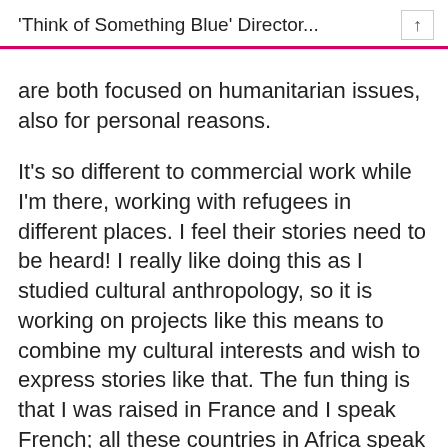'Think of Something Blue' Director...
are both focused on humanitarian issues, also for personal reasons.
It's so different to commercial work while I'm there, working with refugees in different places. I feel their stories need to be heard! I really like doing this as I studied cultural anthropology, so it is working on projects like this means to combine my cultural interests and wish to express stories like that. The fun thing is that I was raised in France and I speak French; all these countries in Africa speak French, therefore that is also a reason I got those